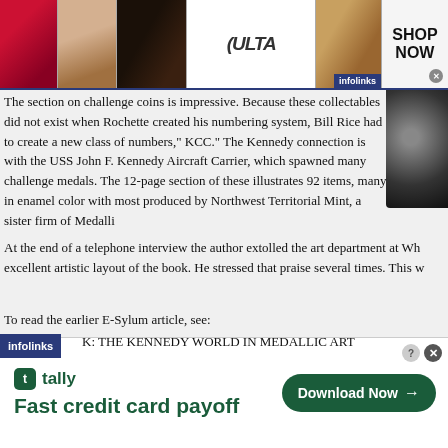[Figure (other): Top advertisement banner for Ulta Beauty with makeup photos (lips, brush, eye) and Ulta logo, with 'SHOP NOW' button and infolinks badge]
The section on challenge coins is impressive. Because these collectables did not exist when Rochette created his numbering system, Bill Rice had to create a new class of numbers," KCC." The Kennedy connection is with the USS John F. Kennedy Aircraft Carrier, which spawned many challenge medals. The 12-page section of these illustrates 92 items, many in enamel color with most produced by Northwest Territorial Mint, a sister firm of Medalli
At the end of a telephone interview the author extolled the art department at Wh excellent artistic layout of the book. He stressed that praise several times. This w
To read the earlier E-Sylum article, see:
K: THE KENNEDY WORLD IN MEDALLIC ART
[Figure (other): Bottom advertisement for Tally app - 'Fast credit card payoff' with Download Now button]